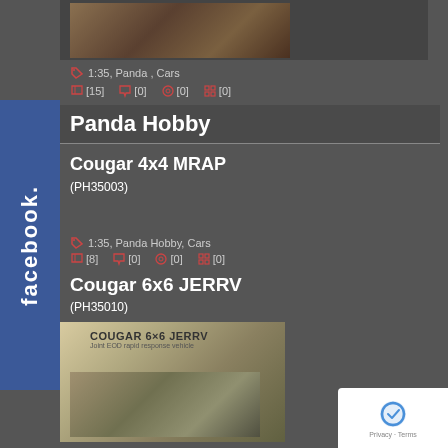[Figure (photo): Military vehicle (Cougar 4x4 MRAP) photo thumbnail at top]
1:35, Panda , Cars
[15] [0] [0] [0]
Panda Hobby
Cougar 4x4 MRAP
(PH35003)
1:35, Panda Hobby, Cars
[8] [0] [0] [0]
Cougar 6x6 JERRV
(PH35010)
[Figure (photo): Box art for Cougar 6x6 JERRV model kit (PH35010) showing military vehicle]
[Figure (logo): reCAPTCHA badge with Privacy and Terms links]